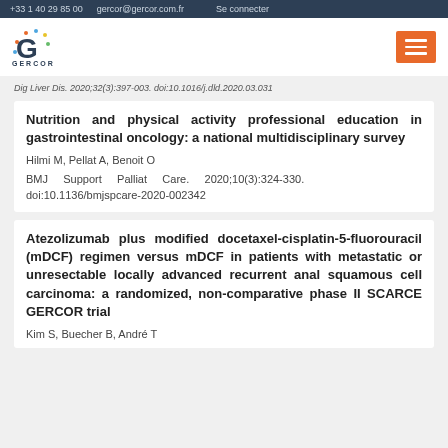+33 1 40 29 85 00   gercor@gercor.com.fr   Se connecter
[Figure (logo): GERCOR logo with colorful G and hamburger menu button]
Dig Liver Dis. 2020;32(3):397-003. doi:10.1016/j.dld.2020.03.031
Nutrition and physical activity professional education in gastrointestinal oncology: a national multidisciplinary survey
Hilmi M, Pellat A, Benoit O
BMJ Support Palliat Care. 2020;10(3):324-330. doi:10.1136/bmjspcare-2020-002342
Atezolizumab plus modified docetaxel-cisplatin-5-fluorouracil (mDCF) regimen versus mDCF in patients with metastatic or unresectable locally advanced recurrent anal squamous cell carcinoma: a randomized, non-comparative phase II SCARCE GERCOR trial
Kim S, Buecher B, André T